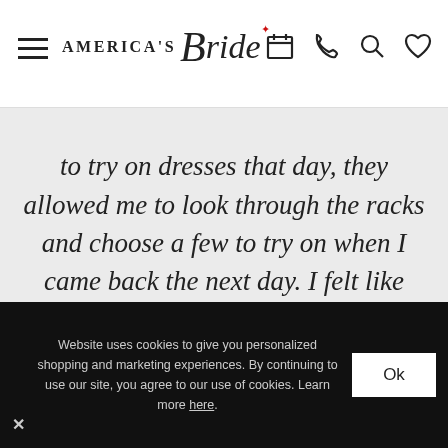America's Bride — navigation header with hamburger menu, logo, and icons (calendar, phone, search, heart)
to try on dresses that day, they allowed me to look through the racks and choose a few to try on when I came back the next day. I felt like
We are hiring!
We are looking for a Retail Sales Associate to join our weekend team.
Website uses cookies to give you personalized shopping and marketing experiences. By continuing to use our site, you agree to our use of cookies. Learn more here.